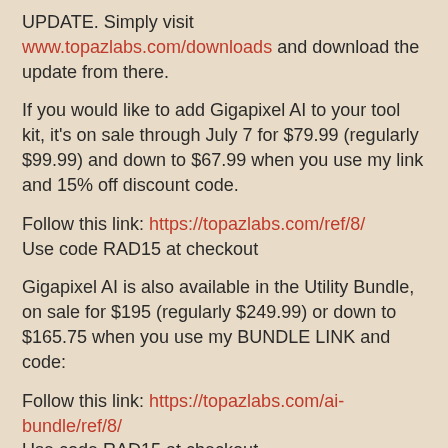UPDATE. Simply visit www.topazlabs.com/downloads and download the update from there.
If you would like to add Gigapixel AI to your tool kit, it's on sale through July 7 for $79.99 (regularly $99.99) and down to $67.99 when you use my link and 15% off discount code.
Follow this link: https://topazlabs.com/ref/8/
Use code RAD15 at checkout
Gigapixel AI is also available in the Utility Bundle, on sale for $195 (regularly $249.99) or down to $165.75 when you use my BUNDLE LINK and code:
Follow this link: https://topazlabs.com/ai-bundle/ref/8/
Use code RAD15 at checkout